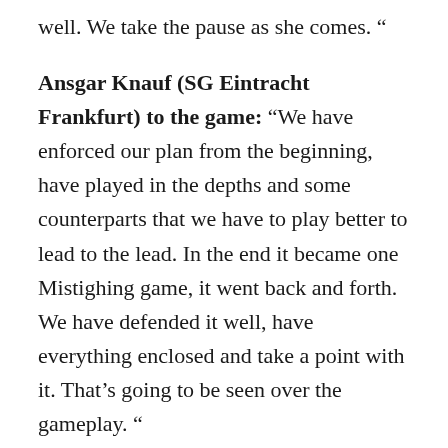well. We take the pause as she comes. “
Ansgar Knauf (SG Eintracht Frankfurt) to the game: “We have enforced our plan from the beginning, have played in the depths and some counterparts that we have to play better to lead to the lead. In the end it became one Mistighing game, it went back and forth. We have defended it well, have everything enclosed and take a point with it. That’s going to be seen over the gameplay. “
Kevin Trapp (goalkeeper SG Eintracht Frankfurt)…
… to the game: “We at any time contributed everything to the game, it was a very powerful game. It has seen